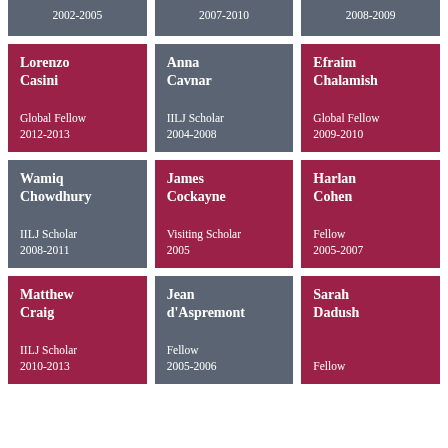2002-2005
2007-2010
2008-2009
Lorenzo Casini
Global Fellow
2012-2013
Anna Cavnar
IILJ Scholar
2004-2008
Efraim Chalamish
Global Fellow
2009-2010
Wamiq Chowdhury
IILJ Scholar
2008-2011
James Cockayne
Visiting Scholar
2005
Harlan Cohen
Fellow
2005-2007
Matthew Craig
IILJ Scholar
2010-2013
Jean d'Aspremont
Fellow
2005-2006
Sarah Dadush
Fellow